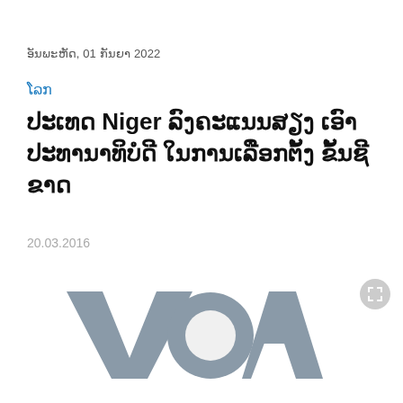ອັນພະຫັດ, 01 ກັນຍາ 2022
ໂລກ
ປະເທດ Niger ລົງຄະແນນສຽງ ເອົາ ປະທານາທິບໍດີ ໃນການເລືອກຕັ້ງ ຂັ້ນຊີຂາດ
20.03.2016
[Figure (logo): VOA (Voice of America) logo in grey on a light grey background]